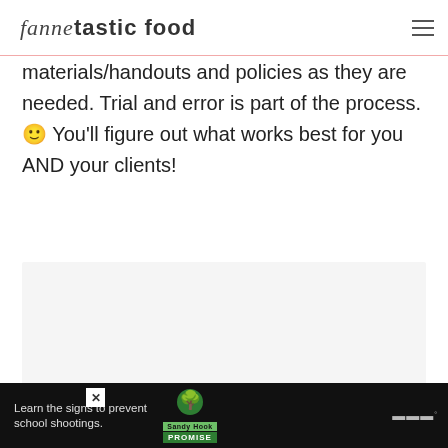fannetastic food
materials/handouts and policies as they are needed. Trial and error is part of the process. 🙂 You'll figure out what works best for you AND your clients!
[Figure (other): Slideshow image placeholder with three navigation dots at the bottom]
[Figure (other): Advertisement banner: Sandy Hook Promise - Learn the signs to prevent school shootings. With tree logo and close button.]